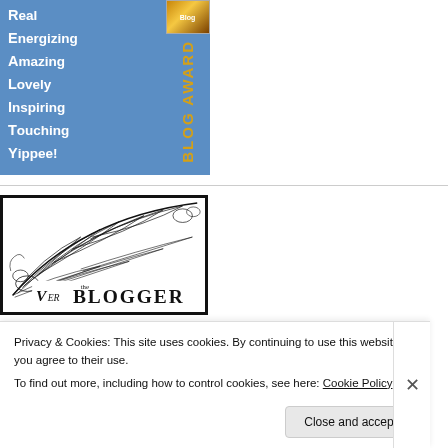[Figure (illustration): Blue blog award badge with white bold text listing: Real, Energizing, Amazing, Lovely, Inspiring, Touching, Yippee! — with a small orange blog thumbnail image and vertical yellow text reading 'BLOG AWARD' on the right side.]
[Figure (illustration): Vintage black-and-white ornate illustration featuring a large feather quill with elaborate decorative scrollwork and the partial text 'BLOGGER' in ornate lettering at the bottom, framed with a thick black border.]
Privacy & Cookies: This site uses cookies. By continuing to use this website, you agree to their use.
To find out more, including how to control cookies, see here: Cookie Policy